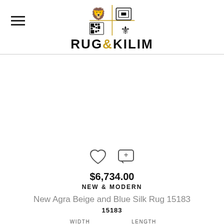[Figure (logo): Rug & Kilim logo with heraldic lion, square pattern, QR code, and fleur-de-lis icons arranged in a 2x2 grid above the text RUG&KILIM]
$6,734.00
NEW & MODERN
New Agra Beige and Blue Silk Rug 15183
15183
| WIDTH | LENGTH |
| --- | --- |
| 7 FT  7 IN | 9 FT  9 IN |